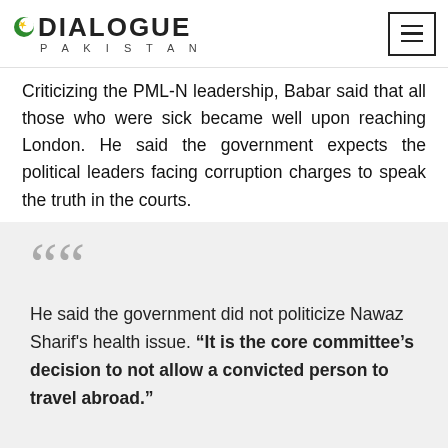DIALOGUE PAKISTAN
Criticizing the PML-N leadership, Babar said that all those who were sick became well upon reaching London. He said the government expects the political leaders facing corruption charges to speak the truth in the courts.
He said the government did not politicize Nawaz Sharif's health issue. “It is the core committee’s decision to not allow a convicted person to travel abroad."